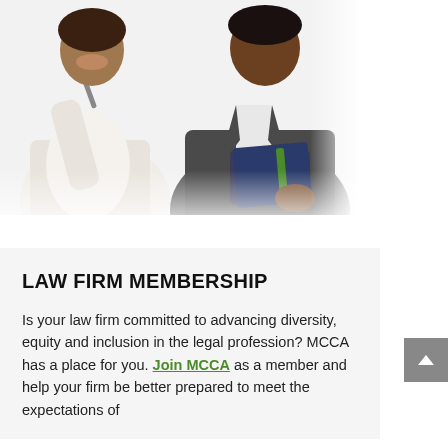[Figure (photo): Two business professionals in suits reviewing documents together, one holding a pen, photographed from below the shoulders. The image has a washed-out, high-key appearance with gray tones.]
LAW FIRM MEMBERSHIP
Is your law firm committed to advancing diversity, equity and inclusion in the legal profession? MCCA has a place for you. Join MCCA as a member and help your firm be better prepared to meet the expectations of